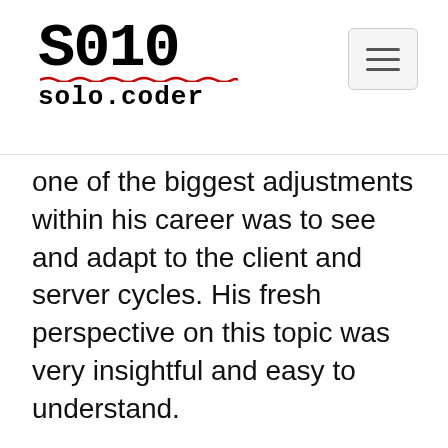S010
solo.coder
one of the biggest adjustments within his career was to see and adapt to the client and server cycles. His fresh perspective on this topic was very insightful and easy to understand.
Rob shared with me that he always tries to bring the user's perspective to the center of the conversation. This is not very simple to do and most developers end up ignoring it and focusing way more in the technical details than what they should. To be a successful tech consultant, one must develop their empathy skills, otherwise